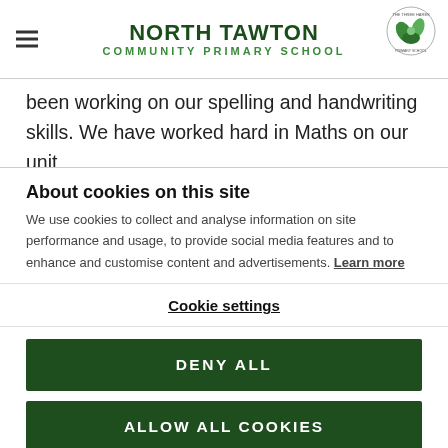NORTH TAWTON COMMUNITY PRIMARY SCHOOL
been working on our spelling and handwriting skills. We have worked hard in Maths on our unit
About cookies on this site
We use cookies to collect and analyse information on site performance and usage, to provide social media features and to enhance and customise content and advertisements. Learn more
Cookie settings
DENY ALL
ALLOW ALL COOKIES